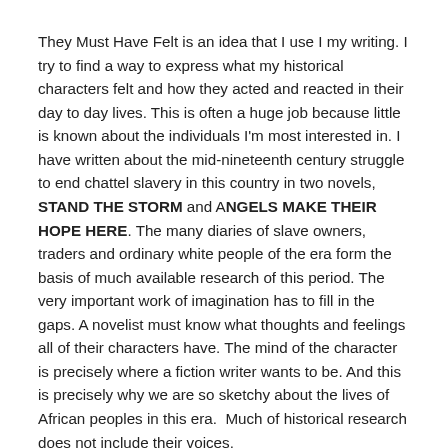They Must Have Felt is an idea that I use I my writing. I try to find a way to express what my historical characters felt and how they acted and reacted in their day to day lives. This is often a huge job because little is known about the individuals I'm most interested in. I have written about the mid-nineteenth century struggle to end chattel slavery in this country in two novels, STAND THE STORM and ANGELS MAKE THEIR HOPE HERE. The many diaries of slave owners, traders and ordinary white people of the era form the basis of much available research of this period. The very important work of imagination has to fill in the gaps. A novelist must know what thoughts and feelings all of their characters have. The mind of the character is precisely where a fiction writer wants to be. And this is precisely why we are so sketchy about the lives of African peoples in this era.  Much of historical research does not include their voices.